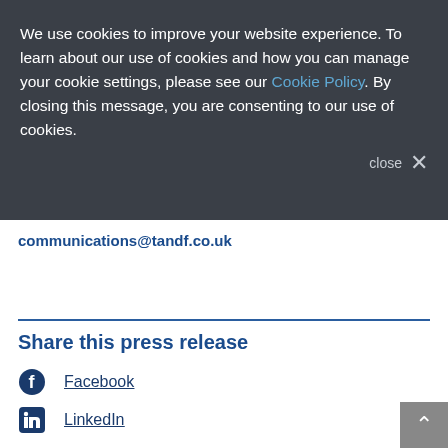We use cookies to improve your website experience. To learn about our use of cookies and how you can manage your cookie settings, please see our Cookie Policy. By closing this message, you are consenting to our use of cookies.
close ×
communications@tandf.co.uk
Share this press release
Facebook
LinkedIn